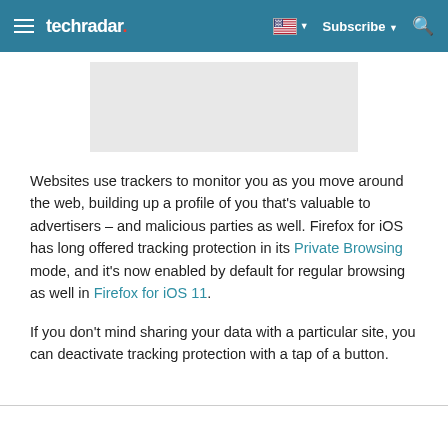techradar — Subscribe
[Figure (other): Gray advertisement placeholder rectangle]
Websites use trackers to monitor you as you move around the web, building up a profile of you that's valuable to advertisers – and malicious parties as well. Firefox for iOS has long offered tracking protection in its Private Browsing mode, and it's now enabled by default for regular browsing as well in Firefox for iOS 11.
If you don't mind sharing your data with a particular site, you can deactivate tracking protection with a tap of a button.